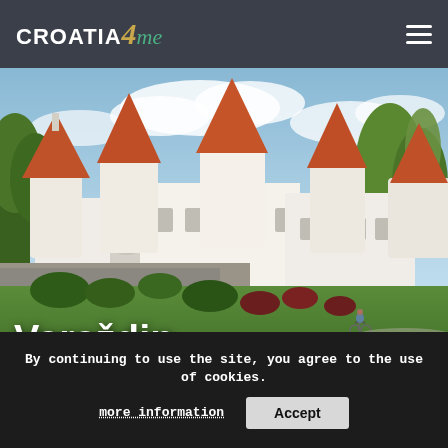CROATIA4me
[Figure (photo): A white medieval castle with orange/terracotta conical tower roofs surrounded by green trees and manicured shrubs. Two cyclists visible on a path in the foreground. Blue sky with clouds in the background.]
Varaždin
Cover photo ©EMRE d.o.o.
Varaždin
By continuing to use the site, you agree to the use of cookies.
more information   Accept
The baroque town with festivals which are not to be missed!